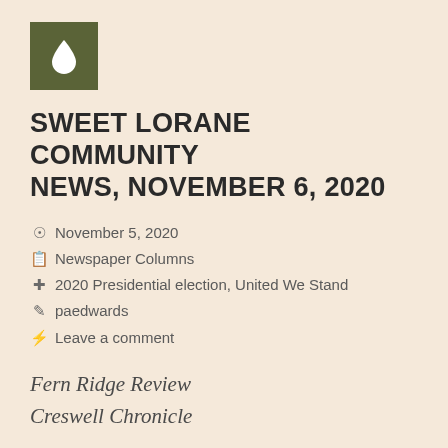[Figure (logo): Dark olive green square logo with a white water droplet icon]
SWEET LORANE COMMUNITY NEWS, NOVEMBER 6, 2020
November 5, 2020
Newspaper Columns
2020 Presidential election, United We Stand
paedwards
Leave a comment
Fern Ridge Review
Creswell Chronicle
Sweet Lorane Community News
November 6, 2020
By Pat Edwards
On this early morning of Friday, November 6, I